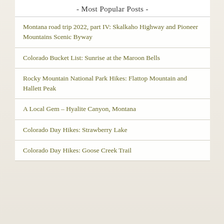- Most Popular Posts -
Montana road trip 2022, part IV: Skalkaho Highway and Pioneer Mountains Scenic Byway
Colorado Bucket List: Sunrise at the Maroon Bells
Rocky Mountain National Park Hikes: Flattop Mountain and Hallett Peak
A Local Gem – Hyalite Canyon, Montana
Colorado Day Hikes: Strawberry Lake
Colorado Day Hikes: Goose Creek Trail